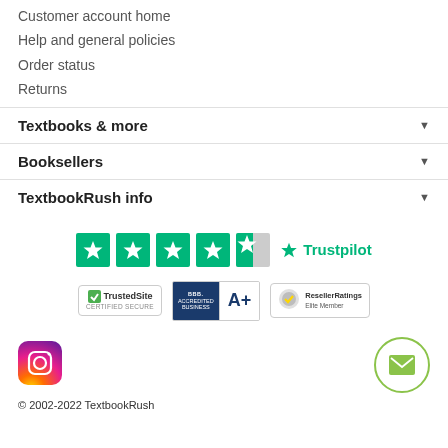Customer account home
Help and general policies
Order status
Returns
Textbooks & more
Booksellers
TextbookRush info
[Figure (logo): Trustpilot rating with 4.5 green stars and Trustpilot logo]
[Figure (logo): Trust badges: TrustedSite Certified Secure, BBB Accredited Business A+, ResellerRatings Elite Member]
[Figure (logo): Instagram icon and email contact button]
© 2002-2022 TextbookRush